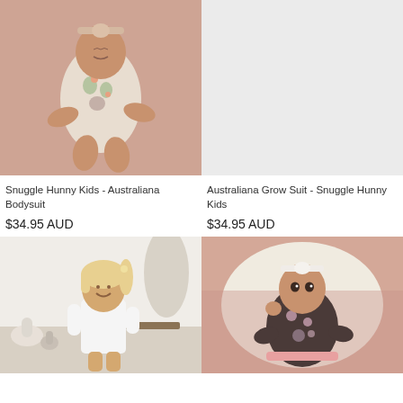[Figure (photo): Baby wearing floral bodysuit and matching bow headband lying on a pink textured blanket]
[Figure (photo): Light gray/beige placeholder image for second product]
Snuggle Hunny Kids - Australiana Bodysuit
$34.95 AUD
Australiana Grow Suit - Snuggle Hunny Kids
$34.95 AUD
[Figure (photo): Blonde toddler girl smiling in white t-shirt in a bright interior setting]
[Figure (photo): Newborn baby wearing floral grow suit and white bow headband on pink and cream textured blankets]